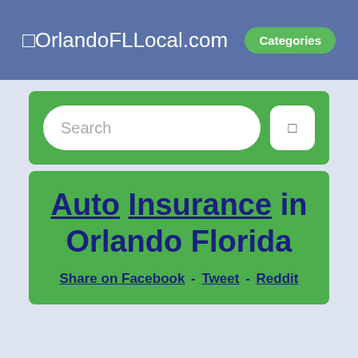OrlandoFLLocal.com  Categories
[Figure (screenshot): Search bar with text input field and search button on green background]
Auto Insurance in Orlando Florida
Share on Facebook - Tweet - Reddit